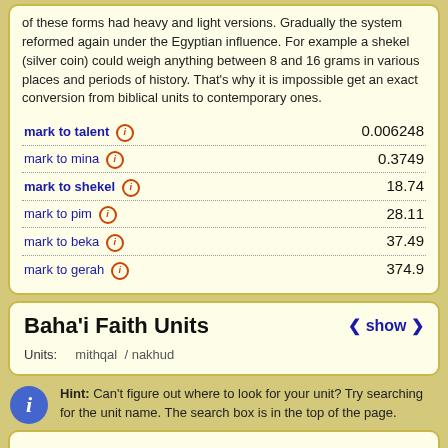of these forms had heavy and light versions. Gradually the system reformed again under the Egyptian influence. For example a shekel (silver coin) could weigh anything between 8 and 16 grams in various places and periods of history. That's why it is impossible get an exact conversion from biblical units to contemporary ones.
| Conversion | Value |
| --- | --- |
| mark to talent | 0.006248 |
| mark to mina | 0.3749 |
| mark to shekel | 18.74 |
| mark to pim | 28.11 |
| mark to beka | 37.49 |
| mark to gerah | 374.9 |
Baha'i Faith Units
Units: mithqal  /  nakhud
Hint: Can't figure out where to look for your unit? Try searching for the unit name. The search box is in the top of the page.